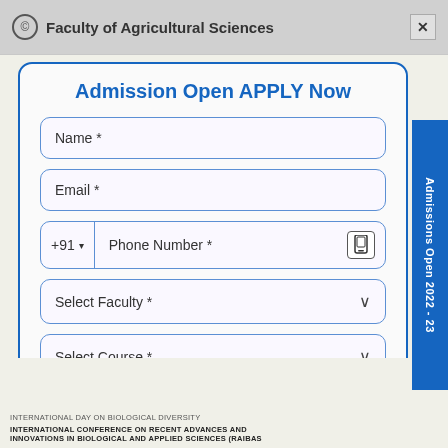Faculty of Agricultural Sciences  ×
Admission Open APPLY Now
Name *
Email *
+91  ▾  Phone Number *
Select Faculty *  ∨
Select Course *  ∨
Select Country *  ∨
Admissions Open 2022 - 23
INTERNATIONAL DAY ON BIOLOGICAL DIVERSITY
INTERNATIONAL CONFERENCE ON RECENT ADVANCES AND INNOVATIONS IN BIOLOGICAL AND APPLIED SCIENCES (RAIBAS